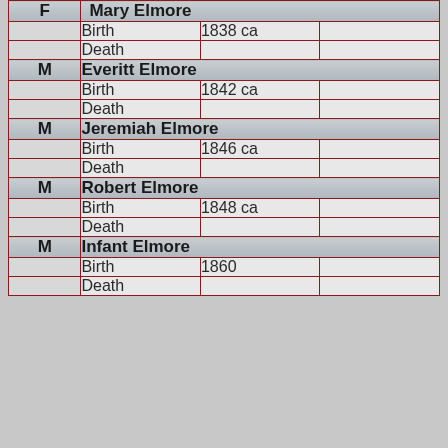| Sex | Event Type | Year | Details |
| --- | --- | --- | --- |
| F | Mary Elmore |  |  |
|  | Birth | 1838 ca |  |
|  | Death |  |  |
| M | Everitt Elmore |  |  |
|  | Birth | 1842 ca |  |
|  | Death |  |  |
| M | Jeremiah Elmore |  |  |
|  | Birth | 1846 ca |  |
|  | Death |  |  |
| M | Robert Elmore |  |  |
|  | Birth | 1848 ca |  |
|  | Death |  |  |
| M | Infant Elmore |  |  |
|  | Birth | 1860 |  |
|  | Death |  |  |